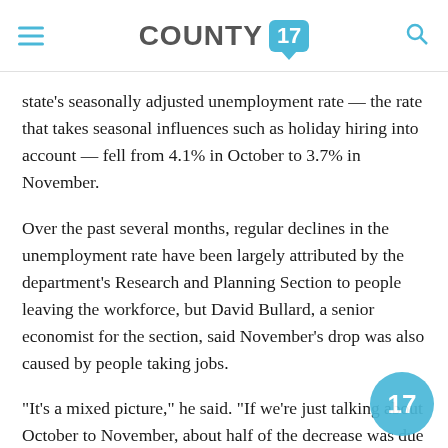COUNTY 17
state's seasonally adjusted unemployment rate — the rate that takes seasonal influences such as holiday hiring into account — fell from 4.1% in October to 3.7% in November.
Over the past several months, regular declines in the unemployment rate have been largely attributed by the department's Research and Planning Section to people leaving the workforce, but David Bullard, a senior economist for the section, said November's drop was also caused by people taking jobs.
“It’s a mixed picture,” he said. “If we’re just talking about October to November, about half of the decrease was due to people going back to work, the other half was due to people leaving the labor force.”